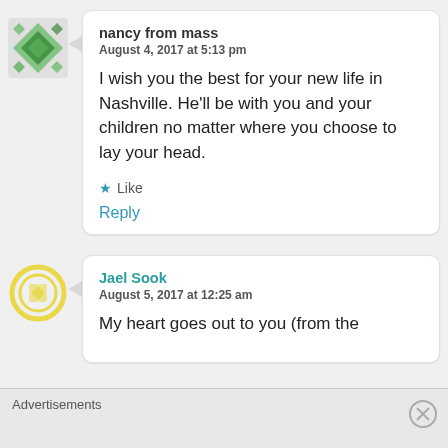nancy from mass
August 4, 2017 at 5:13 pm
I wish you the best for your new life in Nashville. He'll be with you and your children no matter where you choose to lay your head.
★ Like
Reply
Jael Sook
August 5, 2017 at 12:25 am
My heart goes out to you (from the
Advertisements